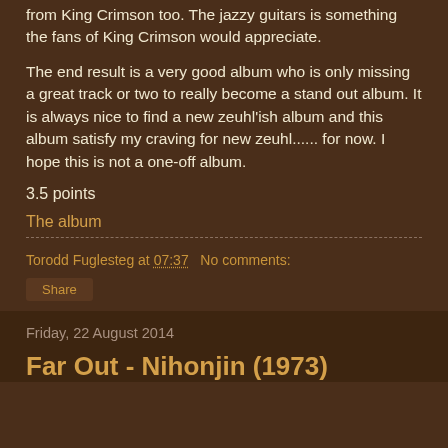from King Crimson too. The jazzy guitars is something the fans of King Crimson would appreciate.
The end result is a very good album who is only missing a great track or two to really become a stand out album. It is always nice to find a new zeuhl'ish album and this album satisfy my craving for new zeuhl...... for now. I hope this is not a one-off album.
3.5 points
The album
Torodd Fuglesteg at 07:37   No comments:
Share
Friday, 22 August 2014
Far Out - Nihonjin (1973)